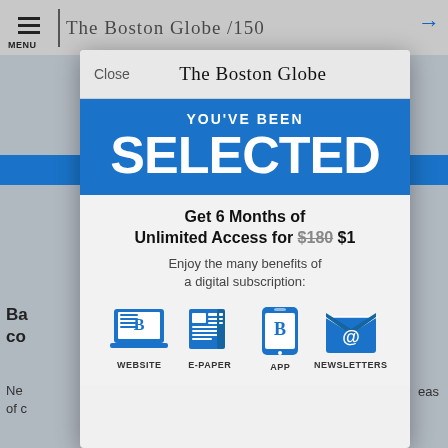MENU | The Boston Globe /150
[Figure (screenshot): Boston Globe subscription modal overlay showing 'YOU'VE BEEN SELECTED' promotion for 6 Months of Unlimited Access for $1 (originally $180), with icons for Website, E-Paper, App, and Newsletters]
The Boston Globe
Close
YOU'VE BEEN
SELECTED
Get 6 Months of Unlimited Access for $180 $1
Enjoy the many benefits of a digital subscription:
WEBSITE
E-PAPER
APP
NEWSLETTERS